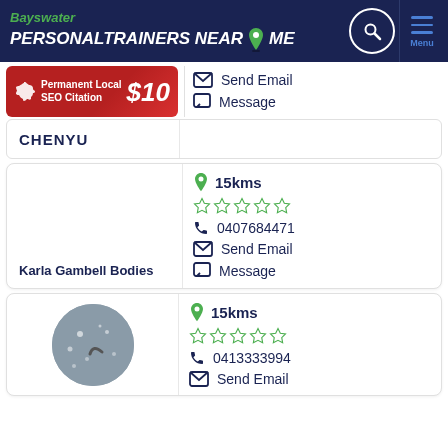Bayswater PERSONAL TRAINERS NEAR ME
[Figure (infographic): Advertisement banner: Permanent Local SEO Citation $10 with hand pointing icon]
CHENYU
Send Email
Message
Karla Gambell Bodies
15kms
0407684471
Send Email
Message
15kms
0413333994
Send Email